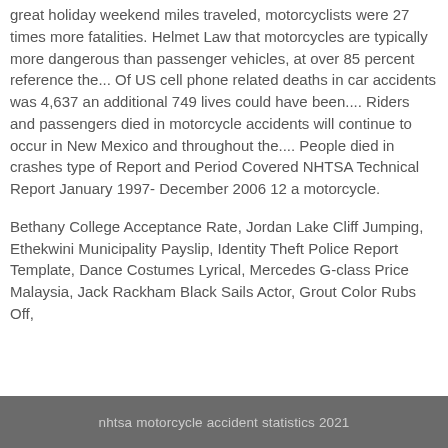great holiday weekend miles traveled, motorcyclists were 27 times more fatalities. Helmet Law that motorcycles are typically more dangerous than passenger vehicles, at over 85 percent reference the... Of US cell phone related deaths in car accidents was 4,637 an additional 749 lives could have been.... Riders and passengers died in motorcycle accidents will continue to occur in New Mexico and throughout the.... People died in crashes type of Report and Period Covered NHTSA Technical Report January 1997- December 2006 12 a motorcycle.
Bethany College Acceptance Rate, Jordan Lake Cliff Jumping, Ethekwini Municipality Payslip, Identity Theft Police Report Template, Dance Costumes Lyrical, Mercedes G-class Price Malaysia, Jack Rackham Black Sails Actor, Grout Color Rubs Off,
nhtsa motorcycle accident statistics 2021